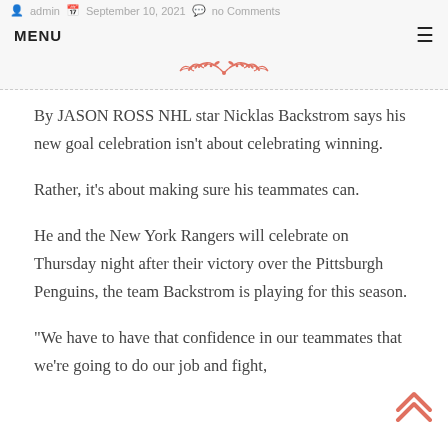admin · September 10, 2021 · no Comments
MENU ≡
[Figure (illustration): Decorative floral/leaf ornament divider in salmon/coral color]
By JASON ROSS NHL star Nicklas Backstrom says his new goal celebration isn't about celebrating winning.
Rather, it's about making sure his teammates can.
He and the New York Rangers will celebrate on Thursday night after their victory over the Pittsburgh Penguins, the team Backstrom is playing for this season.
“We have to have that confidence in our teammates that we’re going to do our job and fight,” Backstrom